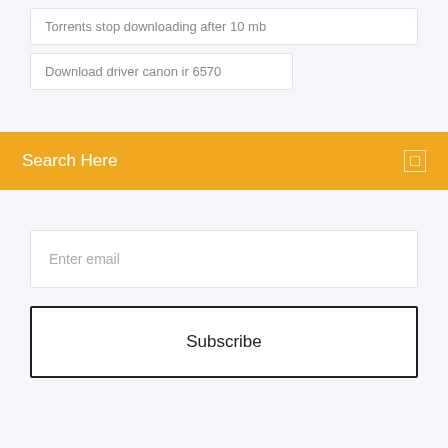Torrents stop downloading after 10 mb
Download driver canon ir 6570
Search Here
Enter email
Subscribe